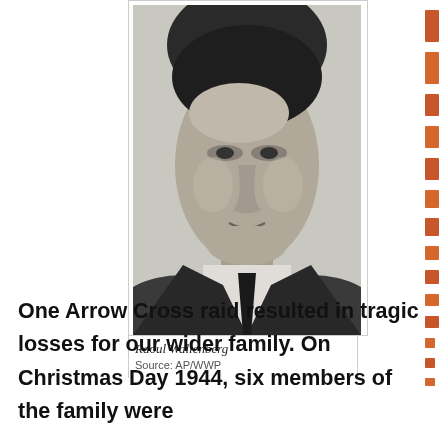[Figure (photo): Black and white portrait photograph of Raoul Wallenberg, a young man with dark hair, looking slightly to the side. Caption reads 'Raoul Wallenberg' and 'Source: AP/WWP'. Orange tab strip decorations on the right side of the image.]
Raoul Wallenberg
Source: AP/WWP
One Arrow Cross raid resulted in tragic losses for our wider family. On Christmas Day 1944, six members of the family were